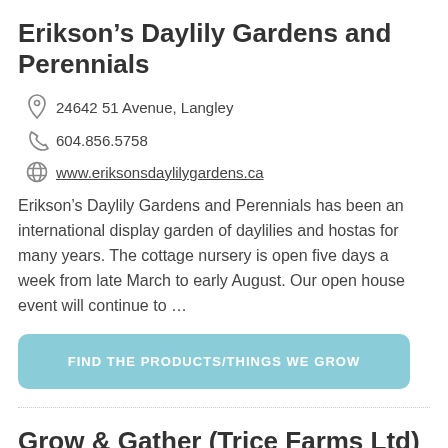Erikson’s Daylily Gardens and Perennials
24642 51 Avenue, Langley
604.856.5758
www.eriksonsdaylilygardens.ca
Erikson’s Daylily Gardens and Perennials has been an international display garden of daylilies and hostas for many years. The cottage nursery is open five days a week from late March to early August. Our open house event will continue to …
FIND THE PRODUCTS/THINGS WE GROW
Grow & Gather (Trice Farms Ltd)